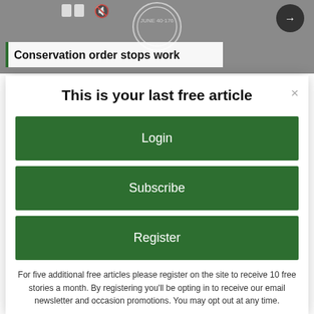[Figure (screenshot): Background image showing a news site with a state seal and media controls. A partial headline reads 'Conservation order stops work'.]
This is your last free article
Login
Subscribe
Register
For five additional free articles please register on the site to receive 10 free stories a month. By registering you'll be opting in to receive our email newsletter and occasion promotions. You may opt out at any time.
subscribers. Please login or subscribe below.